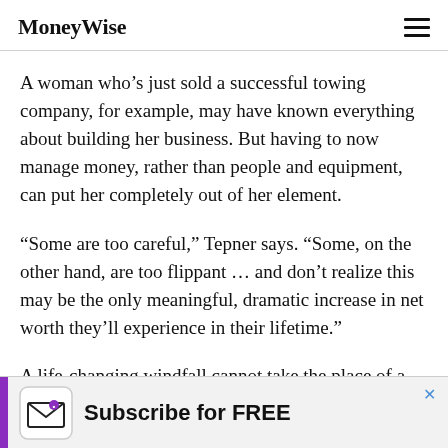MoneyWise
A woman who’s just sold a successful towing company, for example, may have known everything about building her business. But having to now manage money, rather than people and equipment, can put her completely out of her element.
“Some are too careful,” Tepner says. “Some, on the other hand, are too flippant … and don’t realize this may be the only meaningful, dramatic increase in net worth they’ll experience in their lifetime.”
A life-changing windfall cannot take the place of a detailed personal financial plan, which should take four
[Figure (other): Advertisement banner: MoneyWise envelope logo icon with purple left bar, text 'Subscribe for FREE', close button X in blue]